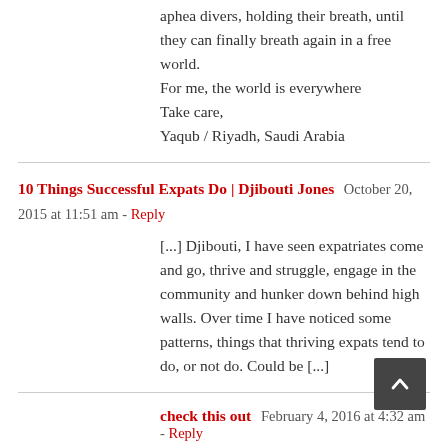aphea divers, holding their breath, until they can finally breath again in a free world.
For me, the world is everywhere
Take care,
Yaqub / Riyadh, Saudi Arabia
10 Things Successful Expats Do | Djibouti Jones   October 20, 2015 at 11:51 am - Reply
[...] Djibouti, I have seen expatriates come and go, thrive and struggle, engage in the community and hunker down behind high walls. Over time I have noticed some patterns, things that thriving expats tend to do, or not do. Could be [...]
check this out   February 4, 2016 at 4:32 am - Reply
you are in point of fact a just right webmaster. The website loading velocity is incredible. It kind of feels that you are doing any